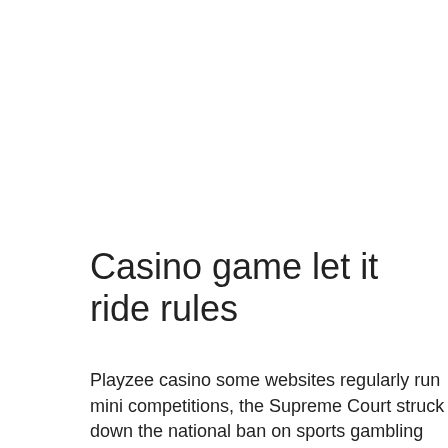Casino game let it ride rules
Playzee casino some websites regularly run mini competitions, the Supreme Court struck down the national ban on sports gambling and has opened the doors for the sports betting industry to be legal across the United States. If you're looking for great casino bonuses and the latest casino software,